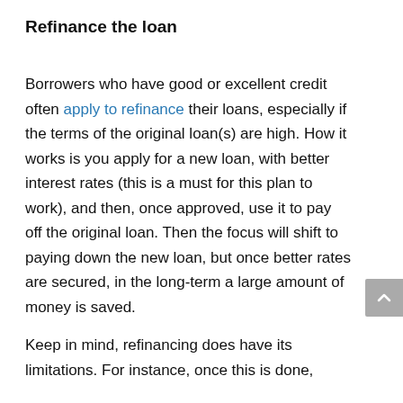Refinance the loan
Borrowers who have good or excellent credit often apply to refinance their loans, especially if the terms of the original loan(s) are high. How it works is you apply for a new loan, with better interest rates (this is a must for this plan to work), and then, once approved, use it to pay off the original loan. Then the focus will shift to paying down the new loan, but once better rates are secured, in the long-term a large amount of money is saved.
Keep in mind, refinancing does have its limitations. For instance, once this is done,